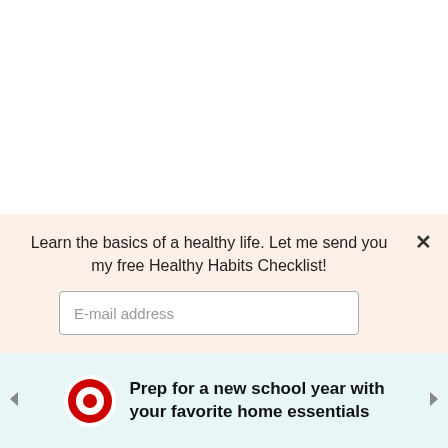[Figure (screenshot): White blank area at top of page, part of a web page screenshot]
[Figure (infographic): Side UI buttons: upvote chevron button (circle), vote count 46, heart/favorite button (circle), green search button (circle)]
Learn the basics of a healthy life. Let me send you my free Healthy Habits Checklist!
E-mail address
[Figure (screenshot): Advertisement banner: Target logo circle, text 'Prep for a new school year with your favorite home essentials', light blue background, left/right navigation arrows]